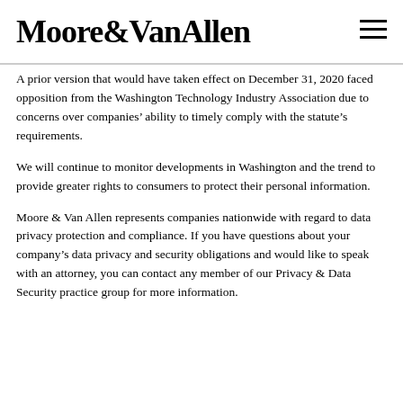Moore&VanAllen
A prior version that would have taken effect on December 31, 2020 faced opposition from the Washington Technology Industry Association due to concerns over companies’ ability to timely comply with the statute’s requirements.
We will continue to monitor developments in Washington and the trend to provide greater rights to consumers to protect their personal information.
Moore & Van Allen represents companies nationwide with regard to data privacy protection and compliance. If you have questions about your company’s data privacy and security obligations and would like to speak with an attorney, you can contact any member of our Privacy & Data Security practice group for more information.